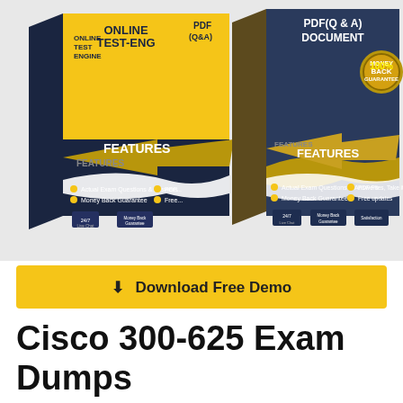[Figure (illustration): Two product boxes side by side: left box is yellow/dark with 'Online Test Engine' and 'PDF (Q&A)' text and FEATURES label; right box is dark/gold with 'PDF(Q & A) Document' text, FEATURES label, 100% Money Back Guarantee badge, and bullet features including Actual Exam Questions & Answers, Money Back Guarantee, PDF Files Take it Anywhere, Free updates, 24/7 Live Chat icons.]
⬇ Download Free Demo
Cisco 300-625 Exam Dumps